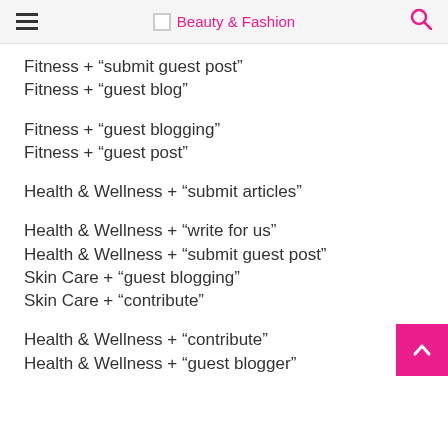Beauty & Fashion
Fitness + “submit guest post”
Fitness + “guest blog”
Fitness + “guest blogging”
Fitness + “guest post”
Health & Wellness + “submit articles”
Health & Wellness + “write for us”
Health & Wellness + “submit guest post”
Skin Care + “guest blogging”
Skin Care + “contribute”
Health & Wellness + “contribute”
Health & Wellness + “guest blogger”